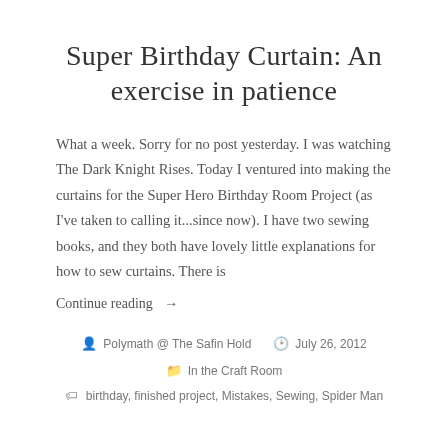Super Birthday Curtain: An exercise in patience
What a week. Sorry for no post yesterday. I was watching The Dark Knight Rises. Today I ventured into making the curtains for the Super Hero Birthday Room Project (as I've taken to calling it...since now). I have two sewing books, and they both have lovely little explanations for how to sew curtains. There is
Continue reading →
Polymath @ The Safin Hold   July 26, 2012   In the Craft Room   birthday, finished project, Mistakes, Sewing, Spider Man